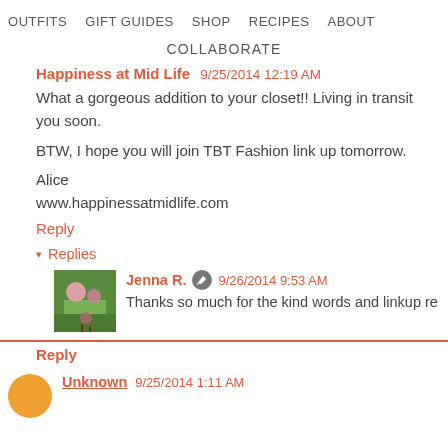OUTFITS   GIFT GUIDES   SHOP   RECIPES   ABOUT
COLLABORATE
Happiness at Mid Life  9/25/2014 12:19 AM
What a gorgeous addition to your closet!! Living in transit... you soon.

BTW, I hope you will join TBT Fashion link up tomorrow.

Alice
www.happinessatmidlife.com
Reply
▾ Replies
Jenna R.  9/26/2014 9:53 AM
Thanks so much for the kind words and linkup re...
Reply
Unknown  9/25/2014 1:11 AM